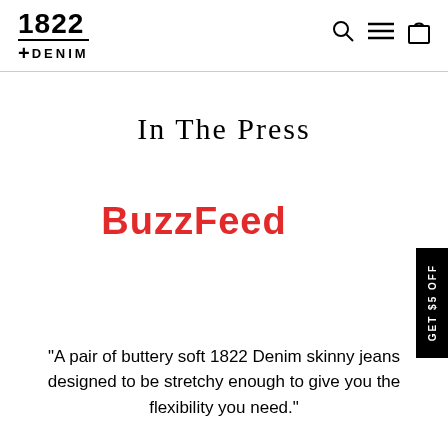1822 DENIM
In The Press
[Figure (logo): BuzzFeed logo in bold red text]
"A pair of buttery soft 1822 Denim skinny jeans designed to be stretchy enough to give you the flexibility you need."